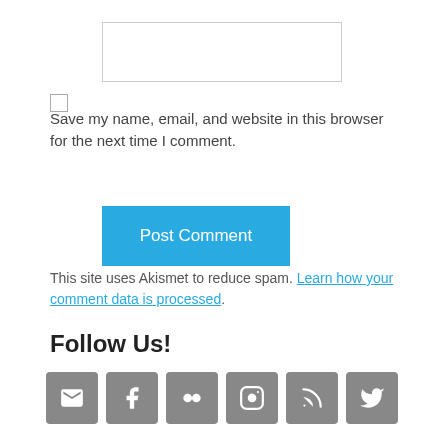[Figure (other): Text input box (form field)]
[Figure (other): Checkbox (unchecked)]
Save my name, email, and website in this browser for the next time I comment.
[Figure (other): Post Comment button (blue)]
This site uses Akismet to reduce spam. Learn how your comment data is processed.
Follow Us!
[Figure (other): Row of 6 social media icon buttons: email, Facebook, Flickr, Instagram, RSS, Twitter]